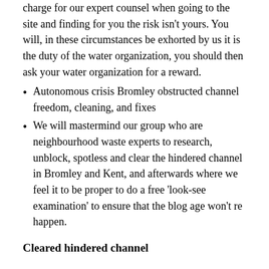charge for our expert counsel when going to the site and finding for you the risk isn't yours. You will, in these circumstances be exhorted by us it is the duty of the water organization, you should then ask your water organization for a reward.
Autonomous crisis Bromley obstructed channel freedom, cleaning, and fixes
We will mastermind our group who are neighbourhood waste experts to research, unblock, spotless and clear the hindered channel in Bromley and Kent, and afterwards where we feel it to be proper to do a free 'look-see examination' to ensure that the blog age won't re happen.
Cleared hindered channel